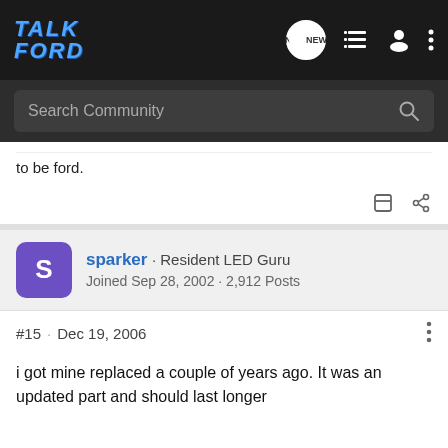TALK FORD
to be ford.
sparker · Resident LED Guru
Joined Sep 28, 2002 · 2,912 Posts
#15 · Dec 19, 2006
i got mine replaced a couple of years ago. It was an updated part and should last longer